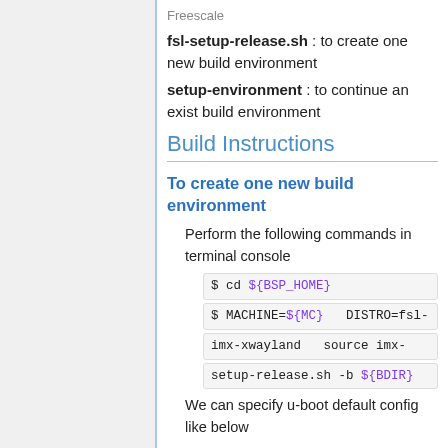fsl-setup-release.sh : to create one new build environment
setup-environment : to continue an exist build environment
Build Instructions
To create one new build environment
Perform the following commands in terminal console
$ cd ${BSP_HOME}
$ MACHINE=${MC}   DISTRO=fsl-imx-xwayland   source imx-setup-release.sh -b ${BDIR}
We can specify u-boot default config like below